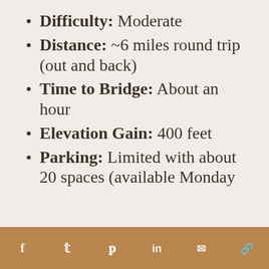Difficulty: Moderate
Distance: ~6 miles round trip (out and back)
Time to Bridge: About an hour
Elevation Gain: 400 feet
Parking: Limited with about 20 spaces (available Monday
f  t  p  in  [mail]  [reddit]